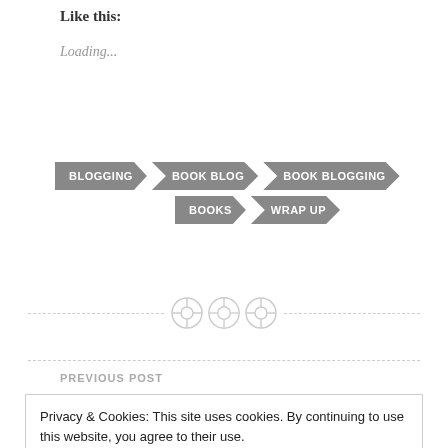Like this:
Loading...
[Figure (infographic): Row of tag/arrow-shaped badge buttons labeled: BLOGGING, BOOK BLOG, BOOK BLOGGING, BOOKS, WRAP UP]
[Figure (illustration): Dashed horizontal divider line with three decorative circular button/sewing-button icons in the center]
PREVIOUS POST
Privacy & Cookies: This site uses cookies. By continuing to use this website, you agree to their use.
To find out more, including how to control cookies, see here:
Cookie Policy
Close and accept